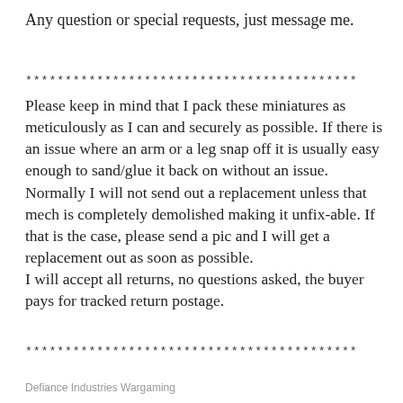Any question or special requests, just message me.
******************************************
Please keep in mind that I pack these miniatures as meticulously as I can and securely as possible. If there is an issue where an arm or a leg snap off it is usually easy enough to sand/glue it back on without an issue. Normally I will not send out a replacement unless that mech is completely demolished making it unfix-able. If that is the case, please send a pic and I will get a replacement out as soon as possible.
I will accept all returns, no questions asked, the buyer pays for tracked return postage.
******************************************
Defiance Industries Wargaming